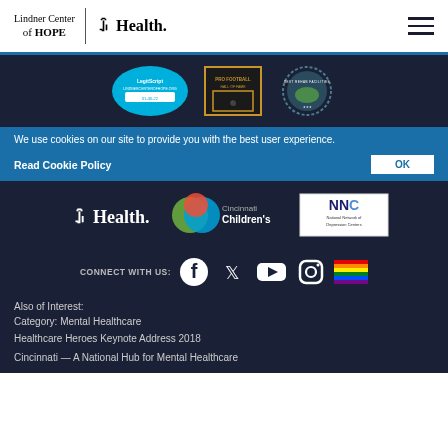[Figure (logo): Lindner Center of HOPE and UC Health logos in header with hamburger menu]
[Figure (logo): LegitScript badge, Pro Football Hall of Fame badge, and Best Rehab Facilities badge on dark background]
We use cookies on our site to provide you with the best user experience.
Read Cookie Policy | OK
[Figure (logo): UC Health logo, Cincinnati Children's logo, and NNDC National Network of Depression Centers logo on dark background]
CONNECT WITH US: [Facebook, Twitter, YouTube, Instagram, Pride flag icons]
Also of Interest:
Category: Mental Healthcare
Healthcare Heroes Keynote Address 2018
Cincinnati — A National Hub for Mental Healthcare